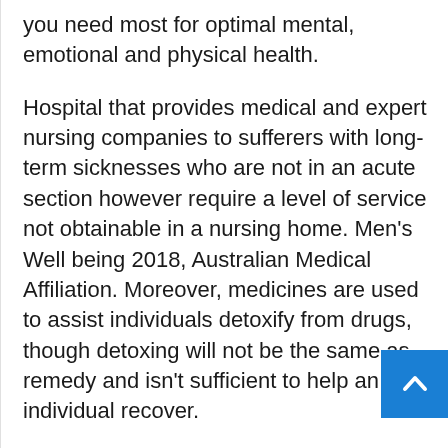you need most for optimal mental, emotional and physical health.
Hospital that provides medical and expert nursing companies to sufferers with long-term sicknesses who are not in an acute section however require a level of service not obtainable in a nursing home. Men's Well being 2018, Australian Medical Affiliation. Moreover, medicines are used to assist individuals detoxify from drugs, though detoxing will not be the same as remedy and isn't sufficient to help an individual recover.
Research means that drug addicts who enter residential therapy receive the most benefits from treatment. The American Most cancers Society (ACS) recommends a prostate-particular antigen (PSA) blood check and digital rectal examination be